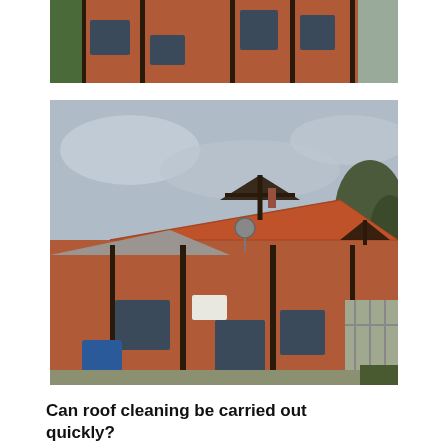[Figure (photo): Partial view of a red-brick Tudor-style building with dark timber framing, windows, and a wooden fence on the right side. Top portion of image cropped.]
[Figure (photo): A red-brick Tudor-style house with prominent terracotta roof tiles, dark timber framing on the gable ends, a satellite dish on the roof, a blue wheelie bin in front, and a wooden fence on the right. Overcast sky in the background.]
Can roof cleaning be carried out quickly?